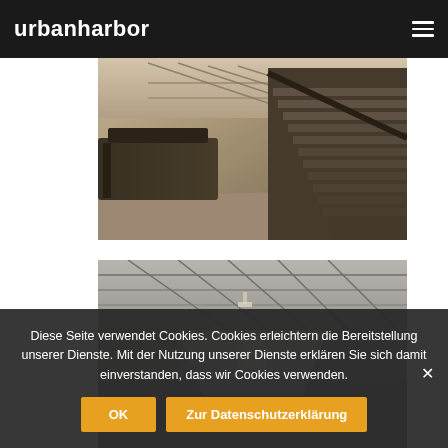urbanharbor
[Figure (photo): Interior photo of an industrial/warehouse space showing a large dark metal staircase on the right side and dark reception desk/furniture on the left, with exposed ceiling structure and ductwork above, captured in a warm sepia-toned photograph.]
[Figure (photo): Interior photo of a long white corridor in an industrial/warehouse space with exposed ceiling trusses and ductwork, showing a perspective view down the hallway, captured in black and white tones.]
Diese Seite verwendet Cookies. Cookies erleichtern die Bereitstellung unserer Dienste. Mit der Nutzung unserer Dienste erklären Sie sich damit einverstanden, dass wir Cookies verwenden.
OK
Zur Datenschutzerklärung